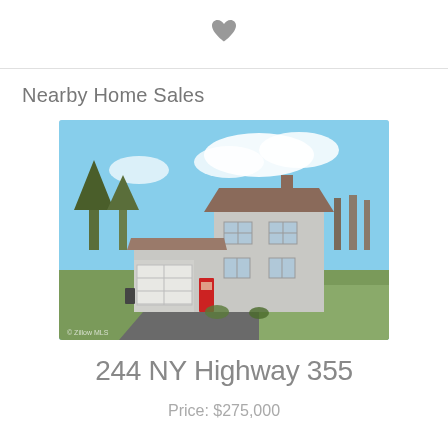[Figure (other): Heart/favorite icon at top center of page]
Nearby Home Sales
[Figure (photo): Exterior photo of a two-story white/grey farmhouse with attached garage, red front door, paved driveway, and lawn in early spring. Blue sky with clouds in background.]
244 NY Highway 355
Price: $275,000